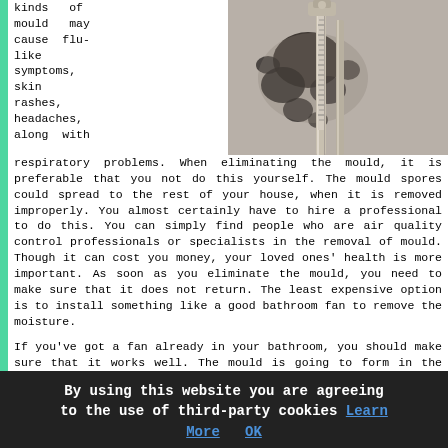kinds of mould may cause flu-like symptoms, skin rashes, headaches, along with
[Figure (photo): Photo of a bathroom wall with black mould growth around metal pipes/faucet hardware]
respiratory problems. When eliminating the mould, it is preferable that you not do this yourself. The mould spores could spread to the rest of your house, when it is removed improperly. You almost certainly have to hire a professional to do this. You can simply find people who are air quality control professionals or specialists in the removal of mould. Though it can cost you money, your loved ones' health is more important. As soon as you eliminate the mould, you need to make sure that it does not return. The least expensive option is to install something like a good bathroom fan to remove the moisture.
If you've got a fan already in your bathroom, you should make sure that it works well. The mould is going to form in the bathroom when the moisture does not go away. Black
By using this website you are agreeing to the use of third-party cookies Learn More OK